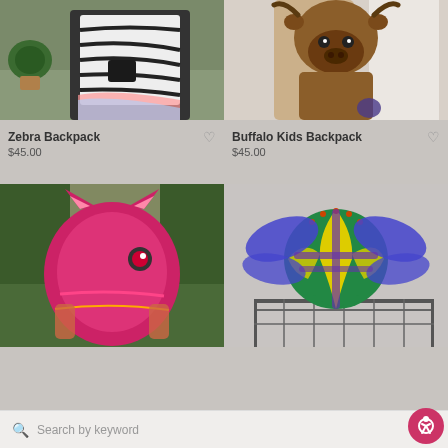[Figure (photo): Child wearing a zebra-print backpack outdoors near potted plants]
Zebra Backpack
$45.00
[Figure (photo): Buffalo kids backpack hanging on a rack with tan clothing]
Buffalo Kids Backpack
$45.00
[Figure (photo): Pink animal-themed backpack worn by a child on grass]
[Figure (photo): Green dragonfly-shaped backpack on a wire shelf]
Search by keyword